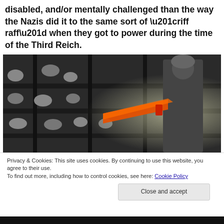disabled, and/or mentally challenged than the way the Nazis did it to the same sort of “riff raff” when they got to power during the time of the Third Reich.
[Figure (photo): A composite image combining a black-and-white historical photograph of concentration camp prisoners lying in overcrowded bunk beds with a color image of a police officer in riot gear holding pepper spray. An orange spray beam is visible.]
Privacy & Cookies: This site uses cookies. By continuing to use this website, you agree to their use.
To find out more, including how to control cookies, see here: Cookie Policy
Close and accept